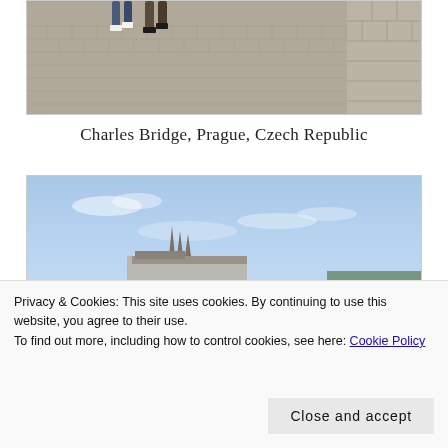[Figure (photo): Cobblestone bridge surface with people's legs and feet visible at the top, taken from Charles Bridge in Prague]
Charles Bridge, Prague, Czech Republic
[Figure (photo): Panoramic view of Prague cityscape with red-roofed buildings and Prague Castle with Gothic cathedral visible against a blue sky]
Privacy & Cookies: This site uses cookies. By continuing to use this website, you agree to their use.
To find out more, including how to control cookies, see here: Cookie Policy